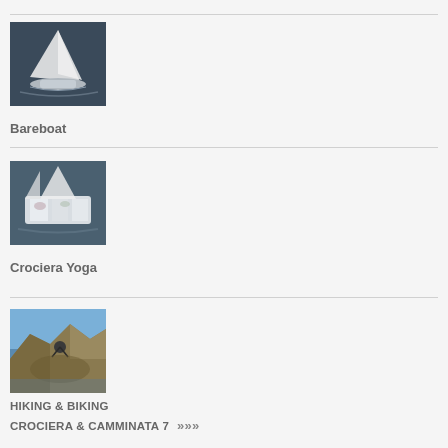[Figure (photo): Aerial view of a sailboat on dark water, white sails fully deployed]
Bareboat
[Figure (photo): Aerial view of a sailboat deck with people relaxing, yoga cruise]
Crociera Yoga
[Figure (photo): Mountain bikers on a coastal cliff trail with blue sea and mountains in background]
HIKING & BIKING CROCIERA & CAMMINATA 7 >>>